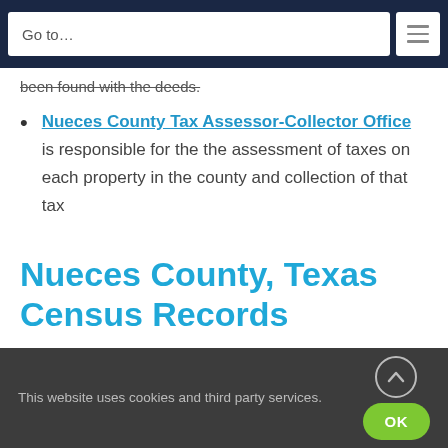Go to…
been found with the deeds.
Nueces County Tax Assessor-Collector Office is responsible for the the assessment of taxes on each property in the county and collection of that tax
Nueces County, Texas Census Records
This website uses cookies and third party services.